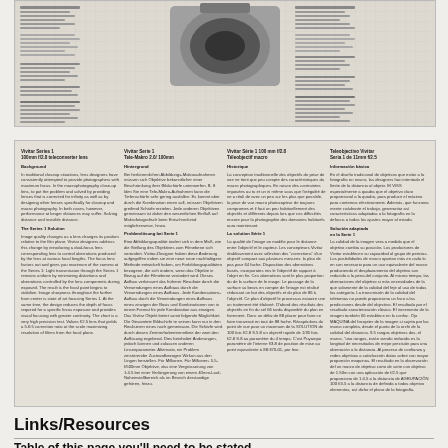[Figure (other): Scanned document page showing technical data table with lens/camera product image at top, grid lines background with two columns of technical specifications in German]
[Figure (other): Scanned document page with four columns of text in multiple languages (English, German, French, Spanish) describing Vivitar Series 1 100mm f/2.8 Teleconverter lens background and solution information]
Links/Resources
Table of this page you'll need to be stated...